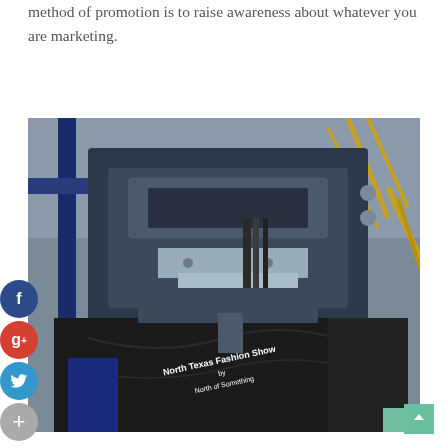method of promotion is to raise awareness about whatever you are marketing.
[Figure (photo): A screen-printing machine printing on a black t-shirt. The shirt shows text reading 'North Texas Fashion Show by North of Something'. Social media share buttons (Facebook, Google+, Twitter, and a plus button) are visible on the left side overlapping the image.]